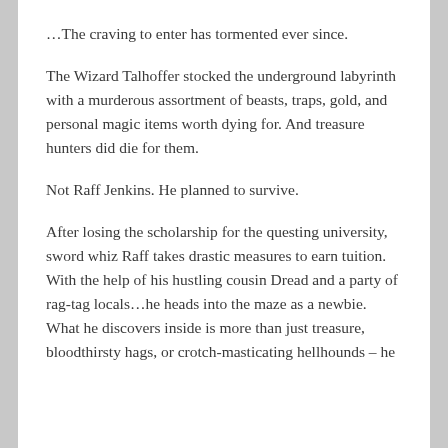…The craving to enter has tormented ever since.
The Wizard Talhoffer stocked the underground labyrinth with a murderous assortment of beasts, traps, gold, and personal magic items worth dying for. And treasure hunters did die for them.
Not Raff Jenkins. He planned to survive.
After losing the scholarship for the questing university, sword whiz Raff takes drastic measures to earn tuition. With the help of his hustling cousin Dread and a party of rag-tag locals…he heads into the maze as a newbie. What he discovers inside is more than just treasure, bloodthirsty hags, or crotch-masticating hellhounds – he